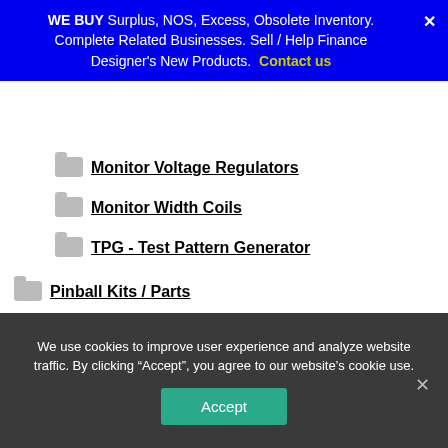WE BUY Surplus, NOS, Excess, Obsolete Inventory. Complete Related Businesses. Sell / Help Finance Designer's New Products. Contact us
Monitor Voltage Regulators
Monitor Width Coils
TPG - Test Pattern Generator
Pinball Kits / Parts
Pinball Kits
Pinball Parts
Rebuild Kits
Game PCB Cap Kits
We use cookies to improve user experience and analyze website traffic. By clicking “Accept”, you agree to our website’s cookie use.